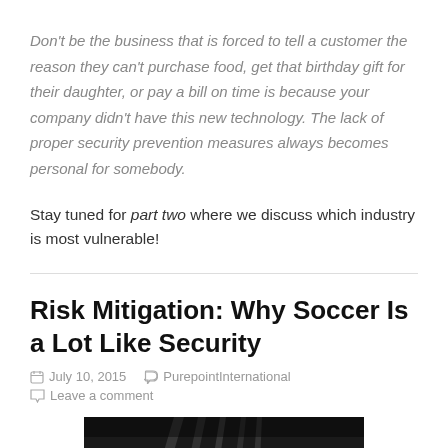Don't be the business that is forced to tell a customer the reason they can't purchase food, get that birthday gift for their daughter, or pay a bill on time is because your company didn't have this new technology. The lack of proper security prevention measures always becomes personal for somebody.
Stay tuned for part two where we discuss which industry is most vulnerable!
Risk Mitigation: Why Soccer Is a Lot Like Security
July 10, 2015   PurepointInternational
Leave a comment
[Figure (photo): Dark photo showing light rays or spotlights, partial view at bottom of page]